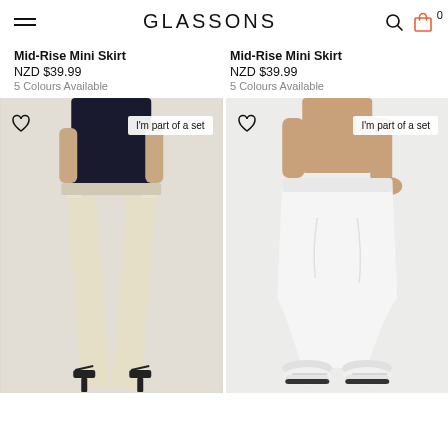GLASSONS
Mid-Rise Mini Skirt
NZD $39.99
5 Colours Available
Mid-Rise Mini Skirt
NZD $39.99
5 Colours Available
[Figure (photo): Model wearing cream wide-leg trousers with black heeled sandals, with 'I'm part of a set' badge and heart icon overlay. Background is light grey.]
[Figure (photo): Model wearing white jogger pants with white sneakers, with 'I'm part of a set' badge and heart icon overlay. Background is light grey.]